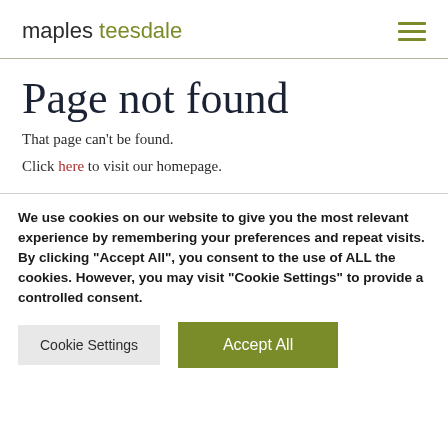maples teesdale
Page not found
That page can't be found.
Click here to visit our homepage.
We use cookies on our website to give you the most relevant experience by remembering your preferences and repeat visits. By clicking “Accept All”, you consent to the use of ALL the cookies. However, you may visit “Cookie Settings” to provide a controlled consent.